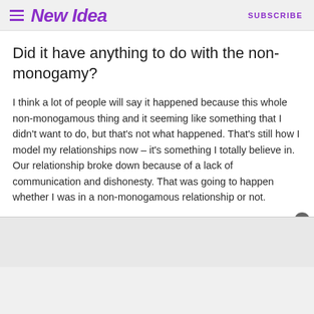New Idea | SUBSCRIBE
Did it have anything to do with the non-monogamy?
I think a lot of people will say it happened because this whole non-monogamous thing and it seeming like something that I didn't want to do, but that's not what happened. That's still how I model my relationships now – it's something I totally believe in. Our relationship broke down because of a lack of communication and dishonesty. That was going to happen whether I was in a non-monogamous relationship or not.
My relationship was going to fail no matter what with Simon because he is untrustworthy. That's why it collapsed.